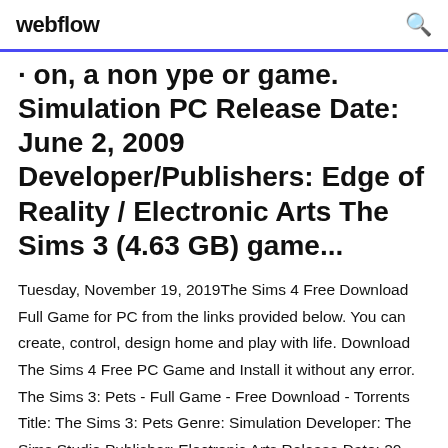webflow
Torrent, different type of game. Simulation PC Release Date: June 2, 2009 Developer/Publishers: Edge of Reality / Electronic Arts The Sims 3 (4.63 GB) game...
Tuesday, November 19, 2019The Sims 4 Free Download Full Game for PC from the links provided below. You can create, control, design home and play with life. Download The Sims 4 Free PC Game and Install it without any error. The Sims 3: Pets - Full Game - Free Download - Torrents Title: The Sims 3: Pets Genre: Simulation Developer: The Sims Studio Publisher: Electronic Arts Release Date: 20 Oct,